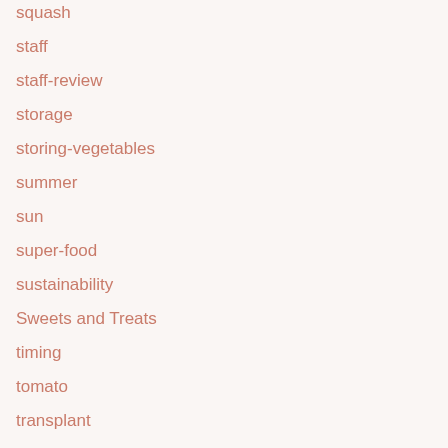squash
staff
staff-review
storage
storing-vegetables
summer
sun
super-food
sustainability
Sweets and Treats
timing
tomato
transplant
trees